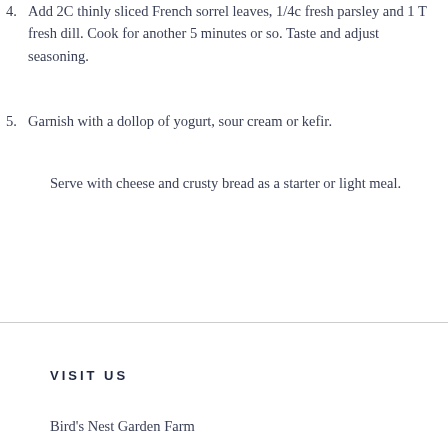4. Add 2C thinly sliced French sorrel leaves, 1/4c fresh parsley and 1 T fresh dill. Cook for another 5 minutes or so. Taste and adjust seasoning.
5. Garnish with a dollop of yogurt, sour cream or kefir.
Serve with cheese and crusty bread as a starter or light meal.
VISIT US
Bird's Nest Garden Farm